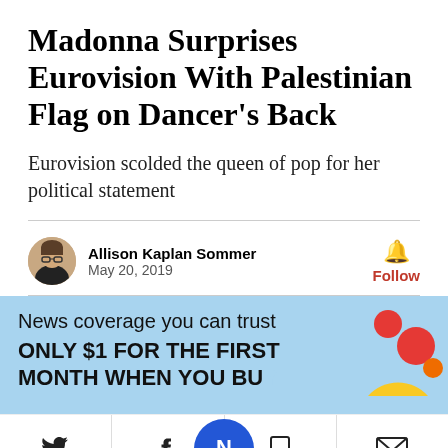Madonna Surprises Eurovision With Palestinian Flag on Dancer's Back
Eurovision scolded the queen of pop for her political statement
Allison Kaplan Sommer
May 20, 2019
[Figure (infographic): News subscription promotional banner with light blue background reading 'News coverage you can trust' and 'ONLY $1 FOR THE FIRST MONTH WHEN YOU BUY' with colorful circular decorations]
[Figure (infographic): Social sharing toolbar with Twitter bird, Facebook f, centered blue circle with N logo, bookmark icon, and mail/envelope icon]
[Figure (infographic): Advertisement: Save Up to $100 on Brakes & Rotors at Virginia Tire & Auto]